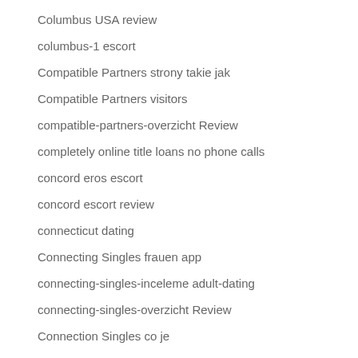Columbus USA review
columbus-1 escort
Compatible Partners strony takie jak
Compatible Partners visitors
compatible-partners-overzicht Review
completely online title loans no phone calls
concord eros escort
concord escort review
connecticut dating
Connecting Singles frauen app
connecting-singles-inceleme adult-dating
connecting-singles-overzicht Review
Connection Singles co je
connection singles visitors
connexion indir